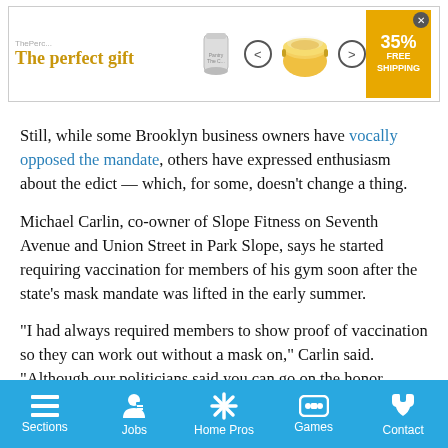[Figure (other): Advertisement banner for 'The perfect gift' showing a pot, navigation arrows, and a 35% FREE SHIPPING badge]
Still, while some Brooklyn business owners have vocally opposed the mandate, others have expressed enthusiasm about the edict — which, for some, doesn't change a thing.
Michael Carlin, co-owner of Slope Fitness on Seventh Avenue and Union Street in Park Slope, says he started requiring vaccination for members of his gym soon after the state's mask mandate was lifted in the early summer.
“I had always required members to show proof of vaccination so they can work out without a mask on,” Carlin said. “Although our politicians said you can go on the honor system…I never did that.”
Sections | Jobs | Home Pros | Games | Contact